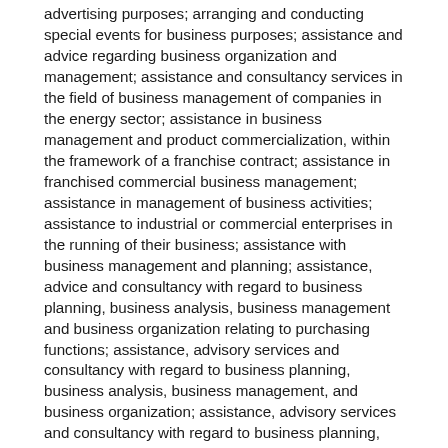advertising purposes; arranging and conducting special events for business purposes; assistance and advice regarding business organization and management; assistance and consultancy services in the field of business management of companies in the energy sector; assistance in business management and product commercialization, within the framework of a franchise contract; assistance in franchised commercial business management; assistance in management of business activities; assistance to industrial or commercial enterprises in the running of their business; assistance with business management and planning; assistance, advice and consultancy with regard to business planning, business analysis, business management and business organization relating to purchasing functions; assistance, advisory services and consultancy with regard to business planning, business analysis, business management, and business organization; assistance, advisory services and consultancy with regard to business planning, business analysis, business management, and business organization relating to micro credits, micro finance and energy products; assistance, advisory services and consultancy with regard to business planning, business analysis, business management, business organization, marketing and customer analysis; brand imagery consulting services; branding services, consulting, development,